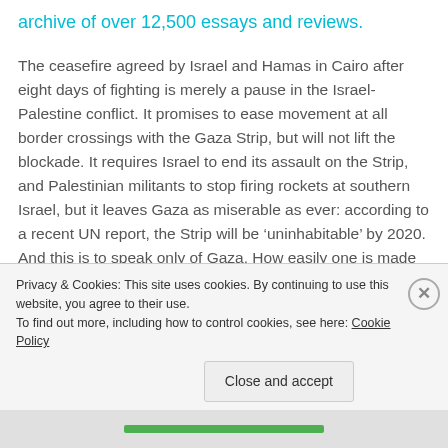archive of over 12,500 essays and reviews.
The ceasefire agreed by Israel and Hamas in Cairo after eight days of fighting is merely a pause in the Israel-Palestine conflict. It promises to ease movement at all border crossings with the Gaza Strip, but will not lift the blockade. It requires Israel to end its assault on the Strip, and Palestinian militants to stop firing rockets at southern Israel, but it leaves Gaza as miserable as ever: according to a recent UN report, the Strip will be ‘uninhabitable’ by 2020. And this is to speak only of Gaza. How easily one is made to forget that Gaza is only a part – a very brutalised part – of the ‘future Palestinian state’ that once
Privacy & Cookies: This site uses cookies. By continuing to use this website, you agree to their use.
To find out more, including how to control cookies, see here: Cookie Policy
Close and accept